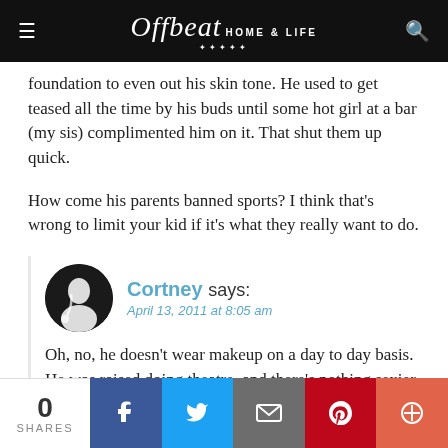Offbeat HOME & LIFE
foundation to even out his skin tone. He used to get teased all the time by his buds until some hot girl at a bar (my sis) complimented him on it. That shut them up quick.
How come his parents banned sports? I think that's wrong to limit your kid if it's what they really want to do.
Cortney says:
April 13, 2011 at 8:05 am
Oh, no, he doesn't wear makeup on a day to day basis. He was raised doing theatre, and there's nothing sexier than a guy that can help you with